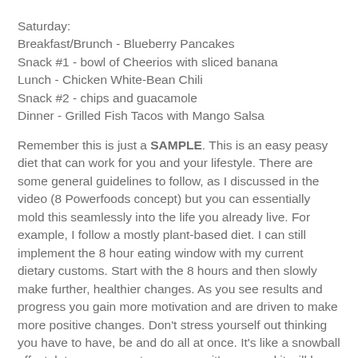Saturday:
Breakfast/Brunch - Blueberry Pancakes
Snack #1 - bowl of Cheerios with sliced banana
Lunch - Chicken White-Bean Chili
Snack #2 - chips and guacamole
Dinner - Grilled Fish Tacos with Mango Salsa
Remember this is just a SAMPLE. This is an easy peasy diet that can work for you and your lifestyle. There are some general guidelines to follow, as I discussed in the video (8 Powerfoods concept) but you can essentially mold this seamlessly into the life you already live. For example, I follow a mostly plant-based diet. I can still implement the 8 hour eating window with my current dietary customs. Start with the 8 hours and then slowly make further, healthier changes. As you see results and progress you gain more motivation and are driven to make more positive changes. Don't stress yourself out thinking you have to have, be and do all at once. It's like a snowball effect, let your momentum grow on it's own and it will be so easy to just flow toward a healthier life!